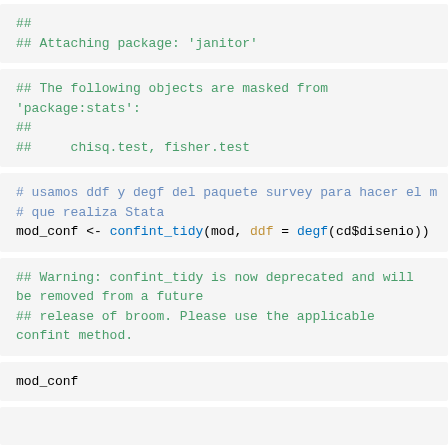##
## Attaching package: 'janitor'
## The following objects are masked from 'package:stats':
##
##     chisq.test, fisher.test
# usamos ddf y degf del paquete survey para hacer el m
# que realiza Stata
mod_conf <- confint_tidy(mod, ddf = degf(cd$disenio))
## Warning: confint_tidy is now deprecated and will be removed from a future
## release of broom. Please use the applicable confint method.
mod_conf